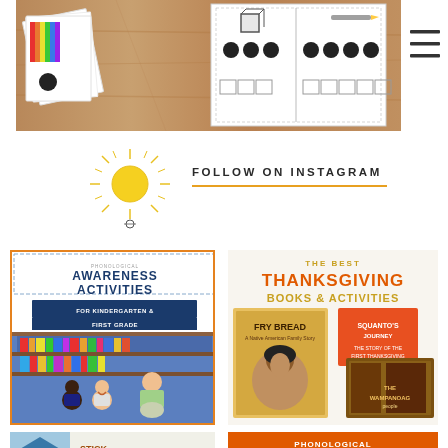[Figure (photo): Educational materials on a wooden surface: flashcards with counting dots and a birthday cake image, and a math worksheet with a cube, pencil, black dots in rows, and empty boxes for counting]
[Figure (illustration): Sun icon illustration used as decoration next to Instagram follow text]
FOLLOW ON INSTAGRAM
[Figure (photo): Awareness Activities for Kindergarten & First Grade - article thumbnail showing children and teacher in a library]
[Figure (photo): The Best Thanksgiving Books & Activities - article thumbnail showing book covers including Fry Bread]
[Figure (photo): Stick and Stone - partial article thumbnail at bottom]
[Figure (photo): Phonological Awareness Activities (K/1) - partial article thumbnail at bottom with orange background]